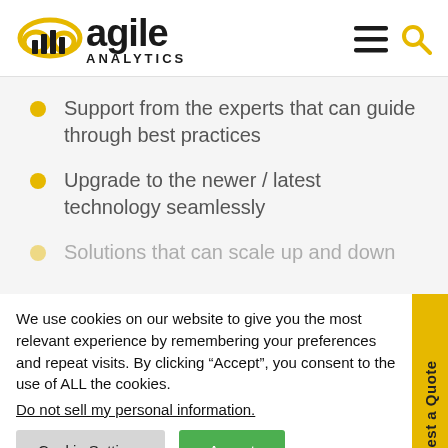[Figure (logo): Agile Analytics logo with cloud and bar chart icon in yellow, text 'agile ANALYTICS' in black]
Support from the experts that can guide through best practices
Upgrade to the newer / latest technology seamlessly
Solutions that can scale up and down
We use cookies on our website to give you the most relevant experience by remembering your preferences and repeat visits. By clicking “Accept”, you consent to the use of ALL the cookies.
Do not sell my personal information.